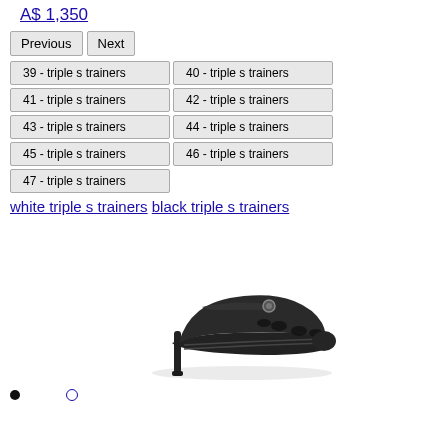A$ 1,350
Previous | Next
39 - triple s trainers
40 - triple s trainers
41 - triple s trainers
42 - triple s trainers
43 - triple s trainers
44 - triple s trainers
45 - triple s trainers
46 - triple s trainers
47 - triple s trainers
white triple s trainers black triple s trainers
[Figure (photo): A black Croc-style clog shoe with a stiletto heel — the Balenciaga x Crocs high heel collaboration — photographed on a white background.]
• (bullet filled) (bullet open circle)